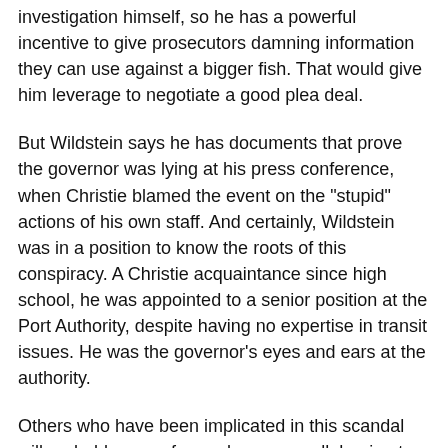investigation himself, so he has a powerful incentive to give prosecutors damning information they can use against a bigger fish. That would give him leverage to negotiate a good plea deal.
But Wildstein says he has documents that prove the governor was lying at his press conference, when Christie blamed the event on the "stupid" actions of his own staff. And certainly, Wildstein was in a position to know the roots of this conspiracy. A Christie acquaintance since high school, he was appointed to a senior position at the Port Authority, despite having no expertise in transit issues. He was the governor's eyes and ears at the authority.
Others who have been implicated in this scandal will probably come forward now as well, hoping to strike deals with prosecutors before their testimony becomes redundant. And all this will happen as the administration answers dozens of